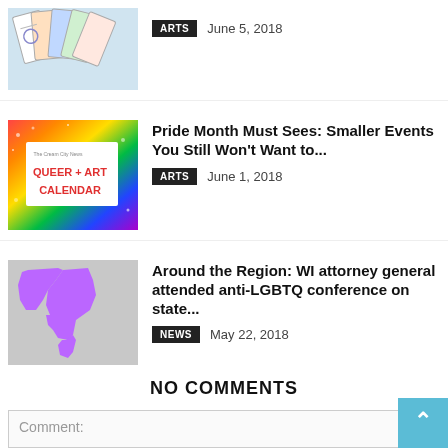[Figure (photo): Tarot cards thumbnail, top-cropped]
ARTS  June 5, 2018
[Figure (photo): Queer + Art Calendar colorful rainbow background thumbnail]
Pride Month Must Sees: Smaller Events You Still Won't Want to...
ARTS  June 1, 2018
[Figure (map): Map showing Wisconsin and surrounding states highlighted in purple]
Around the Region: WI attorney general attended anti-LGBTQ conference on state...
NEWS  May 22, 2018
NO COMMENTS
LEAVE A REPLY
Comment: